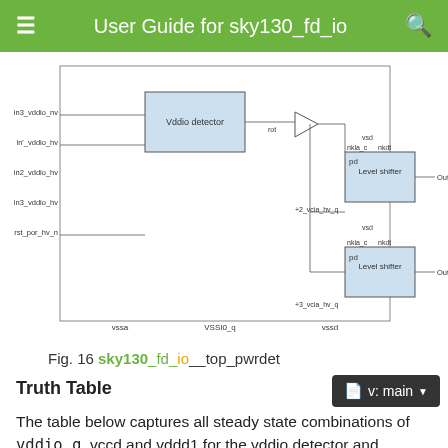User Guide for sky130_fd_io
[Figure (schematic): Block diagram of sky130_fd_io__top_pwrdet showing input signals (in3_vddio_nv, in_vddio_hv, in2_vddio_hv, in3_vddio_hv, rst_por_hv_n), a Vddio detector block, a triangle buffer, two Level shifter blocks with pd inputs and vsd/nkia_c/nkdt signals, and outputs Out2_vddd1_nv and Out3_vddd1_nv. Bottom labels: vssa, VSSI0_q, vssd.]
Fig. 16 sky130_fd_io__top_pwrdet
Truth Table
The table below captures all steady state combinations of vddio_q, vccd and vddd1 for the vddio detector and